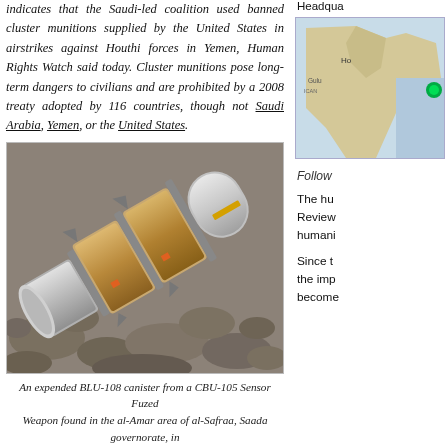indicates that the Saudi-led coalition used banned cluster munitions supplied by the United States in airstrikes against Houthi forces in Yemen, Human Rights Watch said today. Cluster munitions pose long-term dangers to civilians and are prohibited by a 2008 treaty adopted by 116 countries, though not Saudi Arabia, Yemen, or the United States.
[Figure (photo): An expended BLU-108 canister from a CBU-105 Sensor Fuzed Weapon lying on rocky ground in the al-Amar area of al-Safraa, Saada governorate, Yemen.]
An expended BLU-108 canister from a CBU-105 Sensor Fuzed Weapon found in the al-Amar area of al-Safraa, Saada governorate, in northern Yemen, April 17, 2015. © 2015 Priyanka Motaparthy/Human Rights Watch
[Figure (map): Map showing location related to Houthi forces in Yemen.]
Follow
The human rights organization Arms Control and Disarmament Review... humanitarian...
Since the implementation... the impact... become...